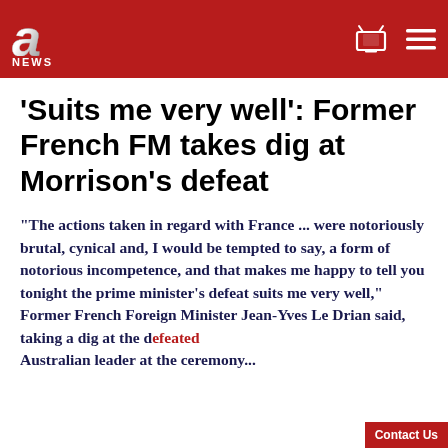[Figure (logo): A News logo with stylized silver 'a' on red background header bar with TV and menu icons]
'Suits me very well': Former French FM takes dig at Morrison's defeat
"The actions taken in regard with France ... were notoriously brutal, cynical and, I would be tempted to say, a form of notorious incompetence, and that makes me happy to tell you tonight the prime minister's defeat suits me very well," Former French Foreign Minister Jean-Yves Le Drian said, taking a dig at the defeated Australian leader at the ceremony...